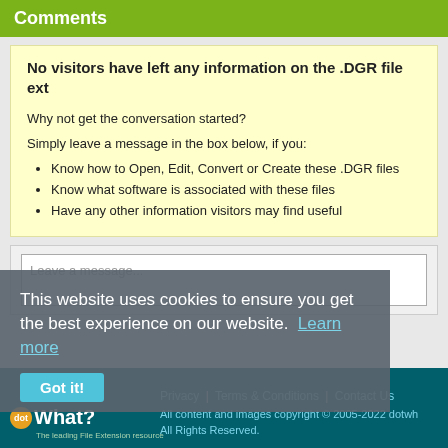Comments
No visitors have left any information on the .DGR file ext
Why not get the conversation started?
Simply leave a message in the box below, if you:
Know how to Open, Edit, Convert or Create these .DGR files
Know what software is associated with these files
Have any other information visitors may find useful
Leave a message...
This website uses cookies to ensure you get the best experience on our website.  Learn more
Got it!
Privacy | Terms & Conditions | Contact Us
All content and images copyright © 2005-2022 dotwh
All Rights Reserved.